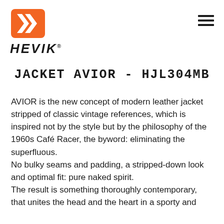[Figure (logo): HEVIK brand logo with orange double chevron icon above bold italic HEVIK text]
JACKET AVIOR - HJL304MB
AVIOR is the new concept of modern leather jacket stripped of classic vintage references, which is inspired not by the style but by the philosophy of the 1960s Café Racer, the byword: eliminating the superfluous.
No bulky seams and padding, a stripped-down look and optimal fit: pure naked spirit.
The result is something thoroughly contemporary, that unites the head and the heart in a sporty and